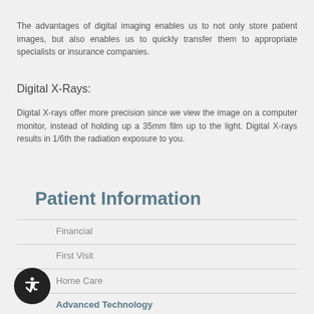The advantages of digital imaging enables us to not only store patient images, but also enables us to quickly transfer them to appropriate specialists or insurance companies.
Digital X-Rays:
Digital X-rays offer more precision since we view the image on a computer monitor, instead of holding up a 35mm film up to the light. Digital X-rays results in 1/6th the radiation exposure to you.
Patient Information
Financial
First Visit
Home Care
Advanced Technology